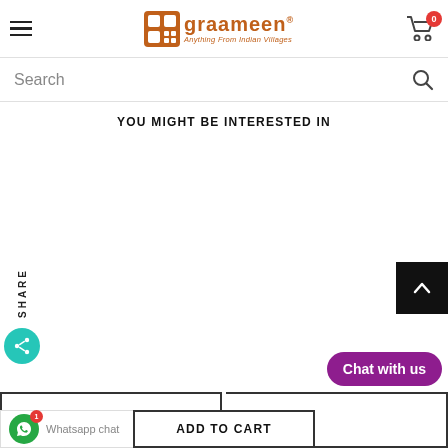graameen® - Anything From Indian Villages
Search
YOU MIGHT BE INTERESTED IN
SHARE
ADD TO CART
Chat with us
Whatsapp chat
ADD TO CART